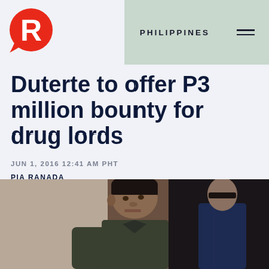PHILIPPINES
[Figure (logo): Rappler logo — red circular icon with white R letter]
Duterte to offer P3 million bounty for drug lords
JUN 1, 2016 12:41 AM PHT
PIA RANADA
[Figure (photo): Photograph of Rodrigo Duterte seated, looking to the side, with dark background]